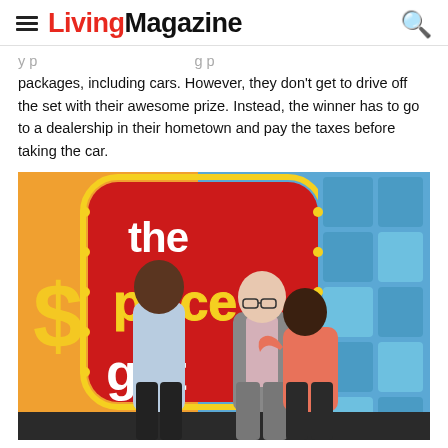LivingMagazine
packages, including cars. However, they don't get to drive off the set with their awesome prize. Instead, the winner has to go to a dealership in their hometown and pay the taxes before taking the car.
[Figure (photo): Three people standing in front of 'The Price is Right' game show set. A man in a light blue shirt on the left, a man in a grey suit in the center, and a woman in a coral/salmon jacket hugging the suited man on the right. The set features the iconic 'The Price is Right' logo sign with red, yellow and teal colors.]
Photo by Frederick M. Brown/Getty Images